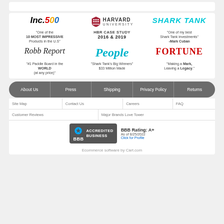[Figure (logo): Inc. 500 logo]
"One of the 10 MOST IMPRESSIVE Products in the U.S"
[Figure (logo): Harvard University logo with shield]
HBR CASE STUDY 2016 & 2019
[Figure (logo): Shark Tank logo in cyan]
"One of my best Shark Tank investments" -Mark Cuban
[Figure (logo): Robb Report logo]
"#1 Paddle Board in the WORLD (at any price)"
[Figure (logo): People magazine logo in cyan]
"Shark Tank's Big Winners" $33 Million Made
[Figure (logo): FORTUNE magazine logo in red]
"Making a Mark, Leaving a Legacy."
About Us
Press
Shipping
Privacy Policy
Returns
Site Map
Contact Us
Careers
FAQ
Customer Reviews
Major Brands Love Tower
[Figure (logo): BBB Accredited Business badge with rating A+ as of 8/25/2022]
Ecommerce software by Cart.com